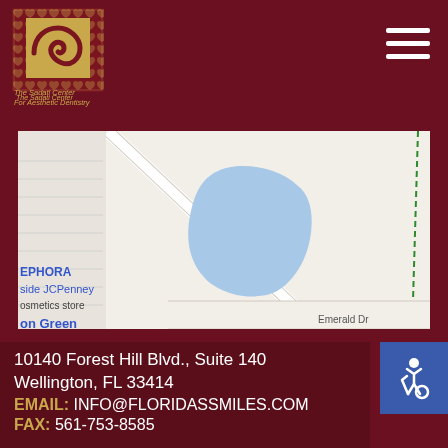[Figure (logo): The Sadati Center For Aesthetic Dentistry logo — decorative bordered square with wave/spiral motif on gold background]
The Sadati Center
For Aesthetic Dentistry
[Figure (map): Google Maps view showing Ring Rd, Emerald Dr, a blue water body, and nearby businesses including SEPHORA inside JCPenney cosmetics store and Boynton Green]
10140 Forest Hill Blvd., Suite 140
Wellington, FL 33414
EMAIL: INFO@FLORIDASSMILES.COM
FAX: 561-753-8585